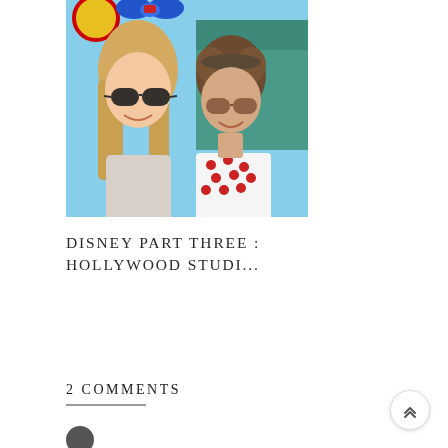[Figure (photo): Two people smiling at the camera as a selfie, both wearing sunglasses. The person on the left has long blonde hair and is wearing Mickey/Minnie Mouse ears with a blue bow. The person on the right has shorter curly/wavy hair and is wearing a white shirt with red polka dots. They appear to be at a Disney theme park with a colorful background behind them.]
DISNEY PART THREE : HOLLYWOOD STUDI...
2 COMMENTS